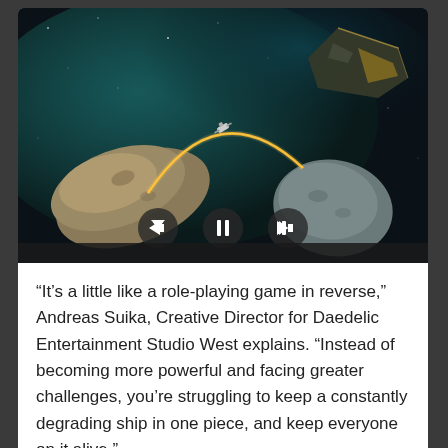[Figure (screenshot): A space game screenshot showing asteroids floating in a dark green nebula background with a golden glowing arc/trail, a small spacecraft, and a large alien ship in the top right. Three video playback controls (back, pause, forward) are visible at the bottom center of the image.]
“It’s a little like a role-playing game in reverse,” Andreas Suika, Creative Director for Daedelic Entertainment Studio West explains. “Instead of becoming more powerful and facing greater challenges, you’re struggling to keep a constantly degrading ship in one piece, and keep everyone on it alive.”